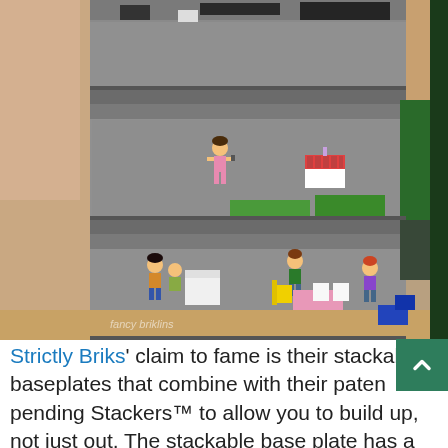[Figure (photo): Photo of a multi-level Lego building structure (Strictly Briks stackable baseplates) with LEGO minifigures on each floor level. Top level has black bricks, middle level has a girl minifigure and a cake build, bottom level has several minifigures including one at a kitchen counter and others at a table with chairs. A hand is partially visible on the left. Various LEGO pieces are visible on the table surface below the structure.]
Strictly Briks' claim to fame is their stackable baseplates that combine with their patent pending Stackers™ to allow you to build up, not just out. The stackable base plate has a